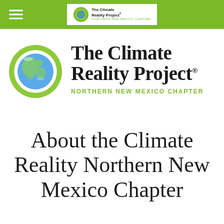The Climate Reality Project — Northern New Mexico Chapter (navigation bar with logo)
[Figure (logo): The Climate Reality Project logo: green circle with Earth globe inside, bold serif text 'The Climate Reality Project' with registered trademark, green uppercase text 'NORTHERN NEW MEXICO CHAPTER']
About the Climate Reality Northern New Mexico Chapter